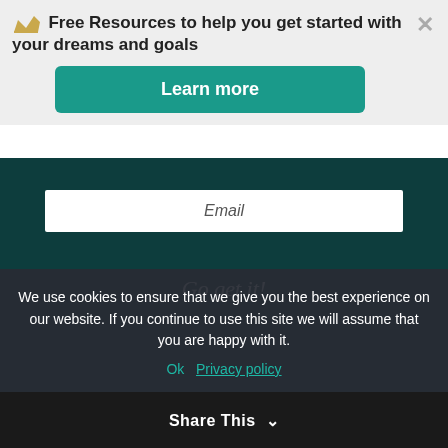Free Resources to help you get started with your dreams and goals
Learn more
Email
Go get it!
Tell us about yourself and what you do
I'm Sarah Shade, I'm 37 and live in a small town in NE
We use cookies to ensure that we give you the best experience on our website. If you continue to use this site we will assume that you are happy with it.
Ok   Privacy policy
Share This